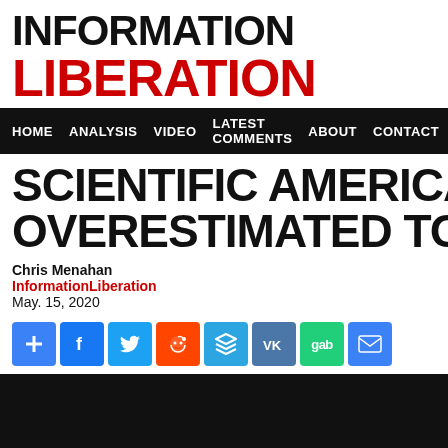INFORMATION LIBERATION
HOME  ANALYSIS  VIDEO  LATEST COMMENTS  ABOUT  CONTACT
SCIENTIFIC AMERICAN: FLU OVERESTIMATED TO 'ENCOU
Chris Menahan
InformationLiberation
May. 15, 2020
[Figure (other): Social share buttons: plus, Facebook, Twitter, Reddit, Telegram, VK, Gab, Email]
[Figure (photo): Black image placeholder at bottom of article]